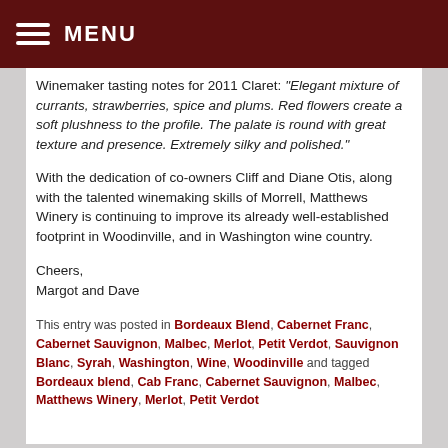MENU
Winemaker tasting notes for 2011 Claret: "Elegant mixture of currants, strawberries, spice and plums. Red flowers create a soft plushness to the profile. The palate is round with great texture and presence. Extremely silky and polished."
With the dedication of co-owners Cliff and Diane Otis, along with the talented winemaking skills of Morrell, Matthews Winery is continuing to improve its already well-established footprint in Woodinville, and in Washington wine country.
Cheers,
Margot and Dave
This entry was posted in Bordeaux Blend, Cabernet Franc, Cabernet Sauvignon, Malbec, Merlot, Petit Verdot, Sauvignon Blanc, Syrah, Washington, Wine, Woodinville and tagged Bordeaux blend, Cab Franc, Cabernet Sauvignon, Malbec, Matthews Winery, Merlot, Petit Verdot